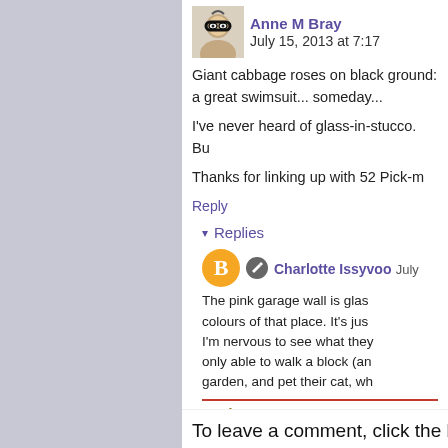Anne M Bray  July 15, 2013 at 7:17
Giant cabbage roses on black ground: a great swimsuit... someday...
I've never heard of glass-in-stucco. Bu
Thanks for linking up with 52 Pick-m
Reply
Replies
Charlotte Issyvoo  July
The pink garage wall is glas colours of that place. It's jus I'm nervous to see what they only able to walk a block (an garden, and pet their cat, wh
Reply
To leave a comment, click the butto